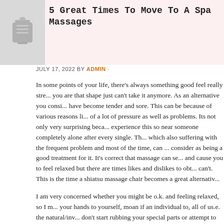5 Great Times To Move To A Spa Massages
JULY 17, 2022 BY ADMIN ·
In some points of your life, there's always something good feel really stre... you are that shape just can't take it anymore. As an alternative you consi... have become tender and sore. This can be because of various reasons li... of a lot of pressure as well as problems. Its not only very surprising beca... experience this so near someone completely alone after every single. Th... which also suffering with the frequent problem and most of the time, can ... consider as being a good treatment for it. It's correct that massage can s... and cause you to feel relaxed but there are times likes and dislikes to ob... can't. This is the time a shiatsu massage chair becomes a great alternativ...
I am very concerned whether you might be o.k. and feeling relaxed, so I ... your hands to yourself, moan if an individual to, all of us.e. the natural/inv... don't start rubbing your special parts or attempt to relief yourself, as that ... which is quite rude, unloving, and puts your therapist in an enormously u...
Busan business trip massage Children's instructors are always wonderfu... love their time spent in lessons. They improve, along with they also learn...